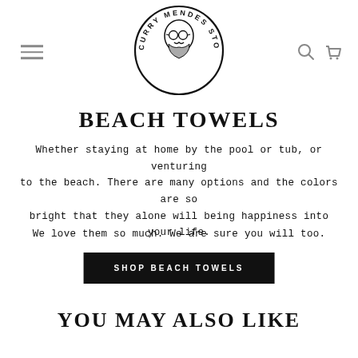[Figure (logo): Curry Mendes Store circular logo with illustrated man wearing glasses and beard, plus hamburger menu icon on left and search/cart icons on right]
BEACH TOWELS
Whether staying at home by the pool or tub, or venturing to the beach. There are many options and the colors are so bright that they alone will being happiness into your life.
We love them so much. We are sure you will too.
SHOP BEACH TOWELS
YOU MAY ALSO LIKE